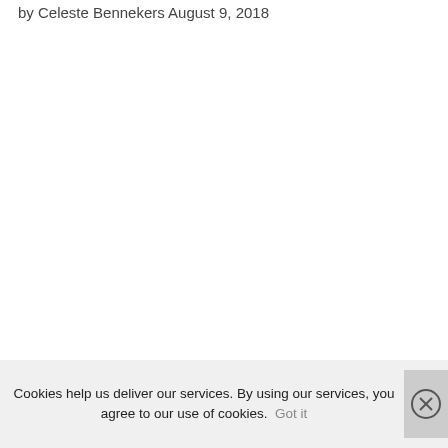by Celeste Bennekers August 9, 2018
Cookies help us deliver our services. By using our services, you agree to our use of cookies. Got it